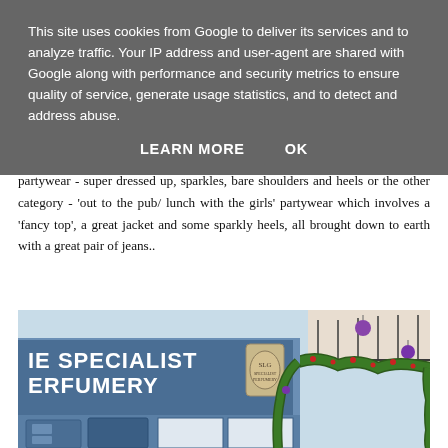This site uses cookies from Google to deliver its services and to analyze traffic. Your IP address and user-agent are shared with Google along with performance and security metrics to ensure quality of service, generate usage statistics, and to detect and address abuse.
LEARN MORE   OK
partywear - super dressed up, sparkles, bare shoulders and heels or the other category - 'out to the pub/ lunch with the girls' partywear which involves a 'fancy top', a great jacket and some sparkly heels, all brought down to earth with a great pair of jeans..
[Figure (photo): Exterior of a shop with a blue facade showing 'THE SPECIALIST PERFUMERY' signage, decorated with Christmas garlands and purple baubles along the top.]